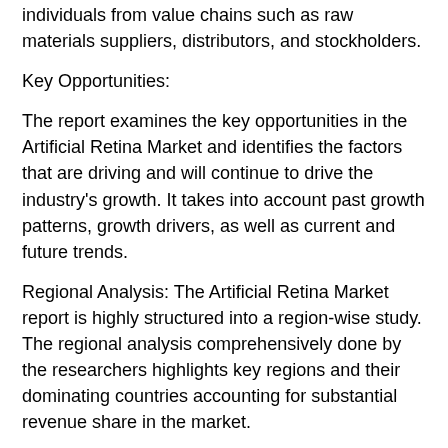The report offers a comprehensive insight into different individuals from value chains such as raw materials suppliers, distributors, and stockholders.
Key Opportunities:
The report examines the key opportunities in the Artificial Retina Market and identifies the factors that are driving and will continue to drive the industry's growth. It takes into account past growth patterns, growth drivers, as well as current and future trends.
Regional Analysis: The Artificial Retina Market report is highly structured into a region-wise study. The regional analysis comprehensively done by the researchers highlights key regions and their dominating countries accounting for substantial revenue share in the market.
Following are the various regions covered by the Artificial Retina Market research report: